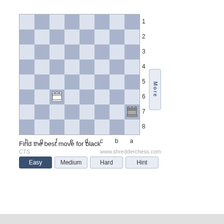[Figure (other): 8x8 chess board with white rooks on f6 and a7, row labels 1-8 on right, column labels h-a on bottom, black square pattern]
Find the best move for black
CTS
www.shredderchess.com
Easy | Medium | Hard | Hint buttons